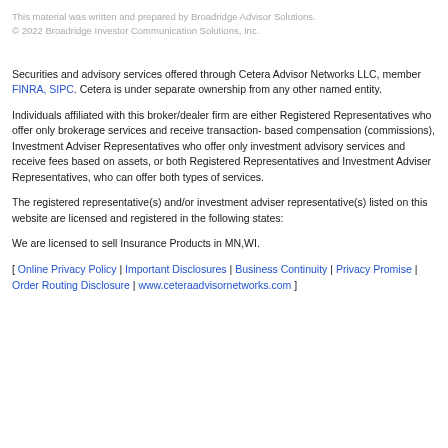This material was written and prepared by Broadridge Advisor Solutions.
© 2022 Broadridge Investor Communication Solutions, Inc.
Securities and advisory services offered through Cetera Advisor Networks LLC, member FINRA, SIPC. Cetera is under separate ownership from any other named entity.
Individuals affiliated with this broker/dealer firm are either Registered Representatives who offer only brokerage services and receive transaction- based compensation (commissions), Investment Adviser Representatives who offer only investment advisory services and receive fees based on assets, or both Registered Representatives and Investment Adviser Representatives, who can offer both types of services.
The registered representative(s) and/or investment adviser representative(s) listed on this website are licensed and registered in the following states:
We are licensed to sell Insurance Products in MN,WI.
[ Online Privacy Policy | Important Disclosures | Business Continuity | Privacy Promise | Order Routing Disclosure | www.ceteraadvisornetworks.com ]